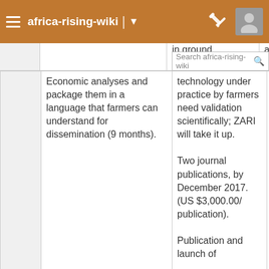africa-rising-wiki
|  | Column2 | Column3 | Column4 |
| --- | --- | --- | --- |
|  | Economic analyses and package them in a language that farmers can understand for dissemination (9 months). | technology under practice by farmers need validation scientifically; ZARI will take it up.

Two journal publications, by December 2017. (US $3,000.00/publication).

Publication and launch of | a consultative ... the end.

Doubled-up legume trials need one more year of data to be completed.

Maize/Gliricidia (COMACO) trials need one more year to improve the value of the data – suggested complementary activities: Gross-margin analysis so fertility assessment

Study adoption |
|  | Develop a document that shall describe the technologies for extension |  |  |